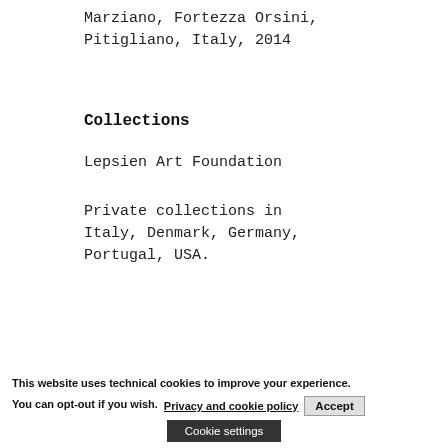Marziano, Fortezza Orsini, Pitigliano, Italy, 2014
Collections
Lepsien Art Foundation
Private collections in Italy, Denmark, Germany, Portugal, USA.
This website uses technical cookies to improve your experience. You can opt-out if you wish. Privacy and cookie policy Accept Cookie settings